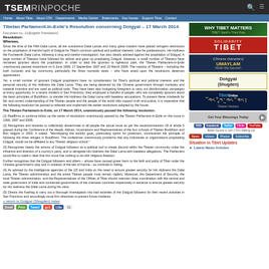TSEMRINPOCHE
Home | About Tibet | About CTA | Departments | Media Center | Statements | Key Issues | Support Tibet | Contact
Tibetan Parliament-In-Exile's Resolution concerning Dolgyal – 17 March 2014
Document no. 11(English Translation)
Resolution:
Whereas,
Since the time of the Fifth Dalai Lama, all the successive Dalai Lamas and many great masters have placed stringent restrictions on the propitiation of harmful spirit of Dolgyal for Tibet's common spiritual and political interests. Like his predecessors, His Holiness the Fourteenth Dalai Lama, following a long and careful investigation, has also clearly advised against the propitiation of Dolgyal. A large number of Tibetans have followed his advice and gave up propitiating Dolgyal. However, a small number of Tibetans have remained ignorant about the propitiation. In order to lead the ignorant to righteous path, the Tibetan Parliament-In-Exile unanimously passed resolutions on 6 June 1996, 17 September 1997 and 15 March 2008. The majority of Tibetans – including the both monastic and lay community particularly the three monastic seats – who have acted upon the resolutions deserves appreciation.
Yet, a small number of ignorant Dolgyal propitiators have no consideration for Tibet's spiritual and political interests and the personal security of His Holiness the Dalai Lama. They are being deceived by the Chinese government through monetary and material incentive and are used as political tools. They have been also instigating foreigners to carry out disinformation campaigns at every opportunity. In a recent incident in San Francisco, they employed a handful of people, who are completely ignorant about the basic principles of Buddhism, to slander His Holiness the Dalai Lama with baseless accusations. To present these misdeeds for fair and correct understanding of the Tibetan people and the people of the world who support truth and justice, it is imperative that the following resolution be passed to reiterate and implement the earlier resolutions adopted by the house.
The Tibetan Parliament-in-Exile, on 17 March 2014, unanimously passed the following resolution:
(1) Reaffirms to continue follow up the series of resolutions unanimously passed by the Tibetan Parliament-in-Exile on this issue in 1996, 1997 and 2008.
(2) Recognizes and resolves to collectively disseminate to all people the actual issue as per the resolution/section 18 of article 5 passed during the Conference of the Heads, Abbots, Incarnations and Representatives of the four schools of Tibetan Buddhism and Bon religion in 2000. It stated: "Worshipping the worldly gods, particularly spirits for protection, contravenes the principle of following the three refuges in Buddhism. The conference unanimously proclaims that any individuals or organizations propitiating Dolgyal, would not be affiliated to any Tibetan religious school."
(3) Recognizes clearly the actions of Dolgyal followers as a political tool to create discord within the Tibetan community under the influence and direction of a country's party, and to denigrate His Holiness the Dalai Lama with baseless allegations. The Parliament would like to make it clear that this issue has nothing to do with religious freedom.
Further recognizes that the Dolgyal followers and others – whose have caused grave harm to the faith and polity of Tibet under the Chinese government's ploy and in violation of the law of Karma – as criminals in hiding.
(4) As advised by the intelligence agencies of the US and India on the need to ensure greater security for His Holiness the Dalai Lama, the Tibetan administration and the entire Tibetan people must remain vigilant. Moreover, the Department of Security, the local Tibetan administration, and the Representatives of the Offices of Tibet should maintain close coordination with the central and state government of India and concerned governments of the overseas countries respectively in advance to ensure greater security for His Holiness the Dalai Lama during his visits.
(5) Directs the Kashag to carry out a thorough investigation into bad activities of the Dolgyal followers for their recent activities in San Francisco and accordingly issue firm directives to prevent future incidents.
« return to Dolgyal (Shugden) index
[Figure (screenshot): WHY TIBET MATTERS – Tibet Earth's Third Pole banner]
[Figure (screenshot): SOLIDARITY TIBET banner in red]
[Figure (screenshot): UMAYLAM banner]
[Figure (screenshot): Dolgyal (Shugden) box]
[Figure (screenshot): Tibet Online banner]
[Figure (photo): Tibetan Nectars promotional image]
Situation in Tibet Updates
Latest News Articles